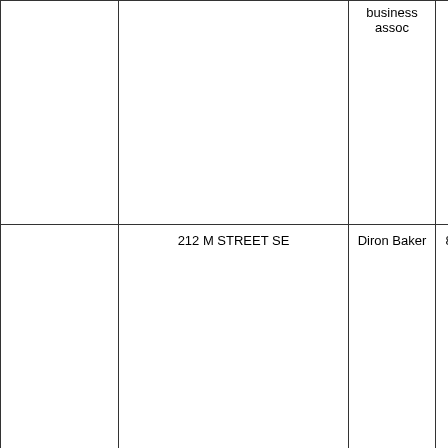| (col1) | (col2) | business assoc | (col4) | bu a |
| --- | --- | --- | --- | --- |
|  |  | business
assoc |  | bu
a |
|  | 212 M STREET SE | Diron Baker | 80479 | Diro |